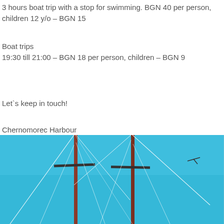3 hours boat trip with a stop for swimming. BGN 40 per person, children 12 y/o – BGN 15
Boat trips
19:30 till 21:00 – BGN 18 per person, children – BGN 9
Let`s keep in touch!
Chernomorec Harbour
+359 888 353 299
flame.yacht@gmail.com
[Figure (photo): Photo of sailboat masts against a blue sky]